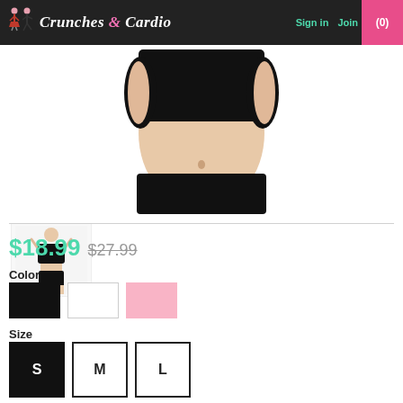Crunches & Cardio | Sign in | Join | (0)
[Figure (photo): Close-up product photo of a woman wearing a black sports crop top, showing midriff area against white background]
[Figure (photo): Thumbnail image of a woman wearing a black sports crop top and black shorts, hands behind head]
$18.99  $27.99
Color
[Figure (other): Three color swatches: black, white, and pink]
Size
[Figure (other): Three size buttons: S (selected/black), M (outlined), L (outlined)]